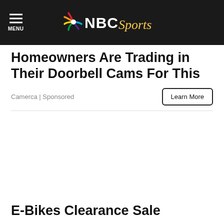NBC Sports
Homeowners Are Trading in Their Doorbell Cams For This
Camerca | Sponsored
Learn More
[Figure (photo): Advertisement image placeholder (blank white space)]
E-Bikes Clearance Sale
E Bikes | Sponsored